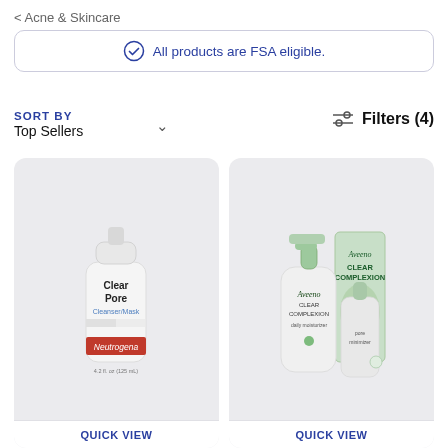< Acne & Skincare
All products are FSA eligible.
SORT BY
Top Sellers
Filters (4)
[Figure (photo): Neutrogena Clear Pore Cleanser/Mask tube, white bottle with red label, 4.2 fl oz]
QUICK VIEW
[Figure (photo): Aveeno Clear Complexion daily moisturizer and pore minimizer products with green box packaging]
QUICK VIEW